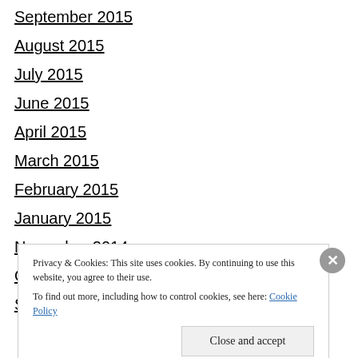September 2015
August 2015
July 2015
June 2015
April 2015
March 2015
February 2015
January 2015
November 2014
October 2014
September 2014
Privacy & Cookies: This site uses cookies. By continuing to use this website, you agree to their use.
To find out more, including how to control cookies, see here: Cookie Policy
Close and accept